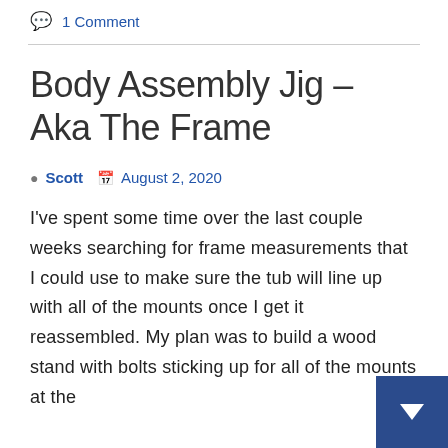1 Comment
Body Assembly Jig – Aka The Frame
Scott   August 2, 2020
I've spent some time over the last couple weeks searching for frame measurements that I could use to make sure the tub will line up with all of the mounts once I get it reassembled. My plan was to build a wood stand with bolts sticking up for all of the mounts at the